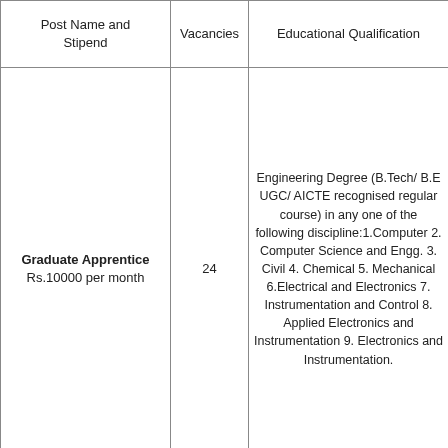| Post Name and Stipend | Vacancies | Educational Qualification |
| --- | --- | --- |
| Graduate Apprentice
Rs.10000 per month | 24 | Engineering Degree (B.Tech/ B.E UGC/ AICTE recognised regular course) in any one of the following discipline:1.Computer 2. Computer Science and Engg. 3. Civil 4. Chemical 5. Mechanical 6.Electrical and Electronics 7. Instrumentation and Control 8. Applied Electronics and Instrumentation 9. Electronics and Instrumentation. |
| Technician (Diploma) Apprentice | 57 | A three-year Diploma in Engineering in any one of the following disciplines (State Board of Technical Education recognized regular course) 1. Chemical 2. Computer 3. Civil 4. Electrical 5. |